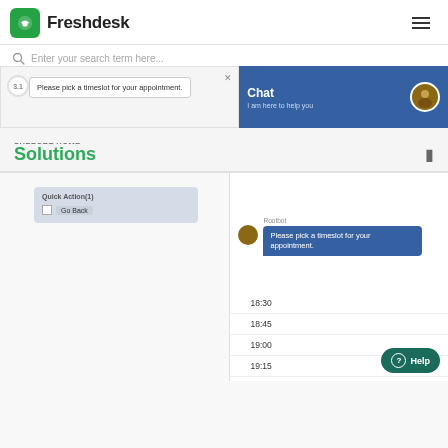[Figure (screenshot): Freshdesk logo and navigation header with search bar and hamburger menu]
[Figure (screenshot): Two-panel screenshot: left shows a step indicator with popup 'Please pick a timeslot for your appointment.'; right shows a Chat widget header 'Chat - I am here to help you' on blue background]
SUPPORT HOME
Solutions
[Figure (screenshot): Two-panel screenshot: left shows Quick Action(1) panel with 'Go Back' checkbox; right shows chatbot conversation with 'Please pick a timeslot for your appointment.' bubble, time slots 18:30, 18:45, 19:00, 19:15, and a Help button]